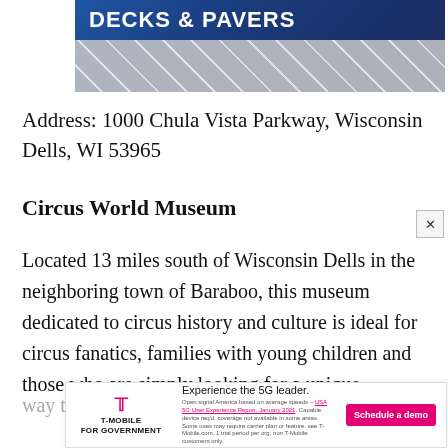[Figure (photo): Advertisement banner with blue background showing text 'DECKS & PAVERS' in white bold uppercase letters over a pattern of light gray stone tiles or pavers]
Address: 1000 Chula Vista Parkway, Wisconsin Dells, WI 53965
Circus World Museum
Located 13 miles south of Wisconsin Dells in the neighboring town of Baraboo, this museum dedicated to circus history and culture is ideal for circus fanatics, families with young children and those who are simply looking for a unique way t... 1884...
[Figure (screenshot): T-Mobile for Government advertisement banner. Shows T-Mobile logo on left, headline 'Experience the 5G leader.' in center, fine print below, and pink 'Schedule a demo' button on right.]